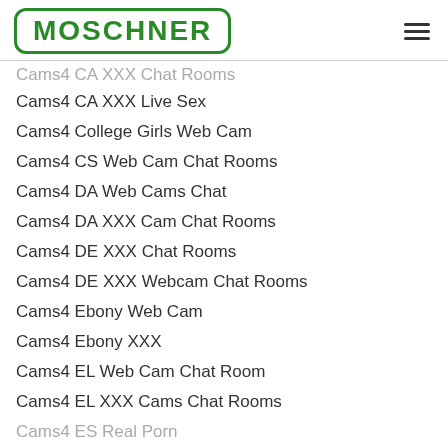MOSCHNER
Cams4 CA XXX Chat Rooms (partial, cut off at top)
Cams4 CA XXX Live Sex
Cams4 College Girls Web Cam
Cams4 CS Web Cam Chat Rooms
Cams4 DA Web Cams Chat
Cams4 DA XXX Cam Chat Rooms
Cams4 DE XXX Chat Rooms
Cams4 DE XXX Webcam Chat Rooms
Cams4 Ebony Web Cam
Cams4 Ebony XXX
Cams4 EL Web Cam Chat Room
Cams4 EL XXX Cams Chat Rooms
Cams4 ES Real Porn (partial, cut off at bottom)